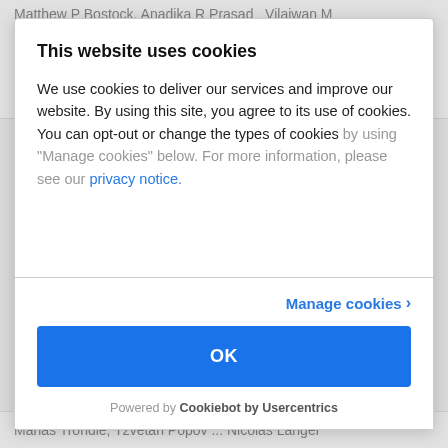Matthew P Bostock, Anadika R Prasad, Vilaiwan M
[Figure (logo): Cookiebot/Usercentrics colorful dot-grid logo icon]
This website uses cookies
We use cookies to deliver our services and improve our website. By using this site, you agree to its use of cookies. You can opt-out or change the types of cookies by using “Manage cookies” below. For more information, please see our privacy notice.
Manage cookies ›
OK
Powered by Cookiebot by Usercentrics
Manas Trondle, Tzvetan Popov ... Nicolas Langer